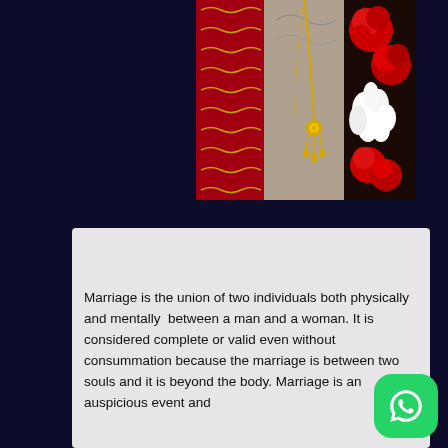[Figure (photo): Close-up photo of Indian wedding accessories: red and gold embroidered fabric/dupatta on left, gold maang tikka/jewelry in center, red roses and white flowers on right, against a dark background.]
Marriage is the union of two individuals both physically and mentally between a man and a woman. It is considered complete or valid even without consummation because the marriage is between two souls and it is beyond the body. Marriage is an auspicious event and